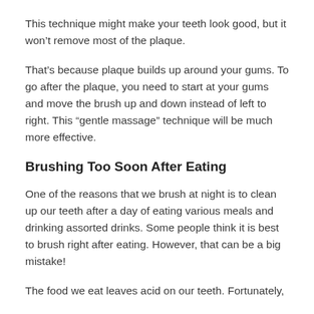This technique might make your teeth look good, but it won't remove most of the plaque.
That's because plaque builds up around your gums. To go after the plaque, you need to start at your gums and move the brush up and down instead of left to right. This “gentle massage” technique will be much more effective.
Brushing Too Soon After Eating
One of the reasons that we brush at night is to clean up our teeth after a day of eating various meals and drinking assorted drinks. Some people think it is best to brush right after eating. However, that can be a big mistake!
The food we eat leaves acid on our teeth. Fortunately,